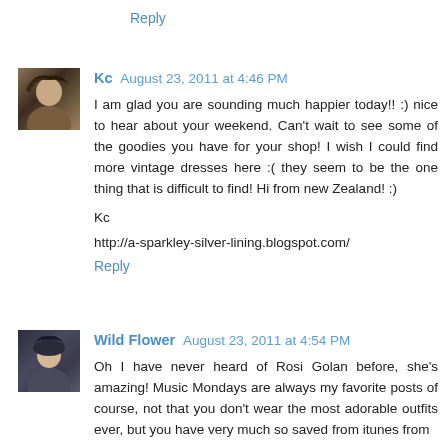Reply
Kc  August 23, 2011 at 4:46 PM
I am glad you are sounding much happier today!! :) nice to hear about your weekend. Can't wait to see some of the goodies you have for your shop! I wish I could find more vintage dresses here :( they seem to be the one thing that is difficult to find! Hi from new Zealand! :)
Kc
http://a-sparkley-silver-lining.blogspot.com/
Reply
Wild Flower  August 23, 2011 at 4:54 PM
Oh I have never heard of Rosi Golan before, she's amazing! Music Mondays are always my favorite posts of course, not that you don't wear the most adorable outfits ever, but you have very much so saved from itunes from